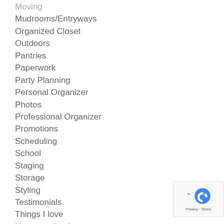Moving
Mudrooms/Entryways
Organized Closet
Outdoors
Pantries
Paperwork
Party Planning
Personal Organizer
Photos
Professional Organizer
Promotions
Scheduling
School
Staging
Storage
Styling
Testimonials
Things I love
Uncategorized
Videos